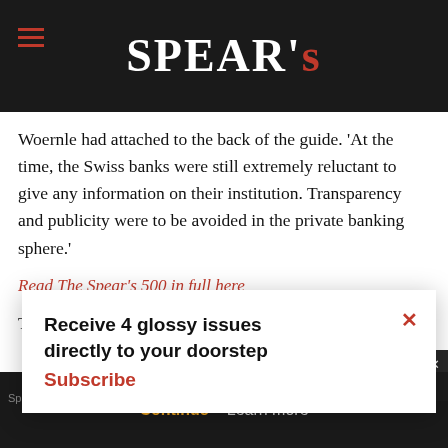SPEAR'S
Woernle had attached to the back of the guide. 'At the time, the Swiss banks were still extremely reluctant to give any information on their institution. Transparency and publicity were to be avoided in the private banking sphere.'
Read The Spear's 500 in full here
That Spear's published our first issue in the same year [as Woernle's guide] is a testament to the longevity of his mission, and for as long as we have been publishing it is a testament...
Receive 4 glossy issues directly to your doorstep
Subscribe
continue using our all cookies on this
Continue   Learn more